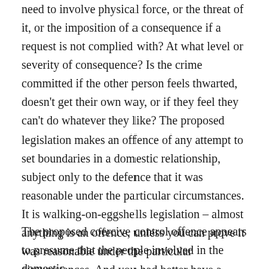need to involve physical force, or the threat of it, or the imposition of a consequence if a request is not complied with? At what level or severity of consequence? Is the crime committed if the other person feels thwarted, doesn't get their own way, or if they feel they can't do whatever they like? The proposed legislation makes an offence of any attempt to set boundaries in a domestic relationship, subject only to the defence that it was reasonable under the particular circumstances. It is walking-on-eggshells legislation – almost anything is an offence, unless you can prove it was reasonable under the particular circumstances. And you had better have a record of them.
The proposed coercive control offence appears to presume that the people involved in the domestic